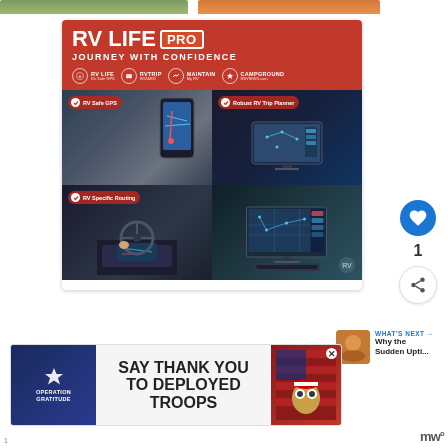[Figure (infographic): RV Life Pro advertisement showing 'Journey With Confidence' with product logos (RV Life RV Safe GPS, RVTrip Wizard, Maintain My RV, Campground Reviews) and four photo panels: RV Safe GPS phone mount, Robust RV Trip Planner desktop map, RV Specific Routing dashboard screen, and a map planning software screenshot.]
[Figure (infographic): Operation Gratitude advertisement banner: 'Say Thank You To Deployed Troops' with patriotic imagery and an owl mascot character.]